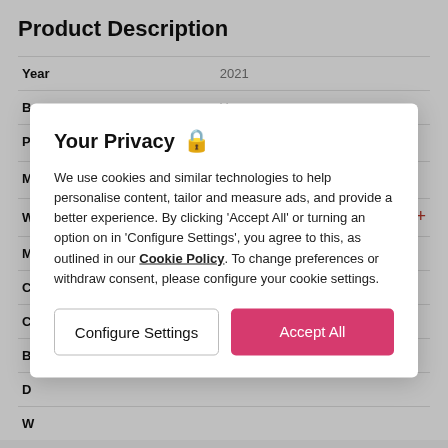Product Description
| Field | Value |
| --- | --- |
| Year | 2021 |
| Box | Yes |
| Papers (i) | Yes |
| Manufacturer warranty (i) | 1 year 2 Months remaining |
| Watchfinder warranty | 24 months* |
Your Privacy
We use cookies and similar technologies to help personalise content, tailor and measure ads, and provide a better experience. By clicking 'Accept All' or turning an option on in 'Configure Settings', you agree to this, as outlined in our Cookie Policy. To change preferences or withdraw consent, please configure your cookie settings.
Configure Settings
Accept All